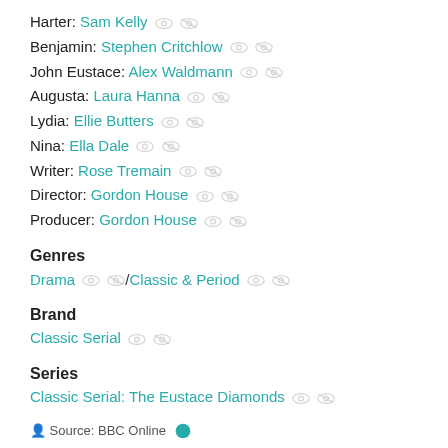Harter: Sam Kelly
Benjamin: Stephen Critchlow
John Eustace: Alex Waldmann
Augusta: Laura Hanna
Lydia: Ellie Butters
Nina: Ella Dale
Writer: Rose Tremain
Director: Gordon House
Producer: Gordon House
Genres
Drama / Classic & Period
Brand
Classic Serial
Series
Classic Serial: The Eustace Diamonds
Source: BBC Online